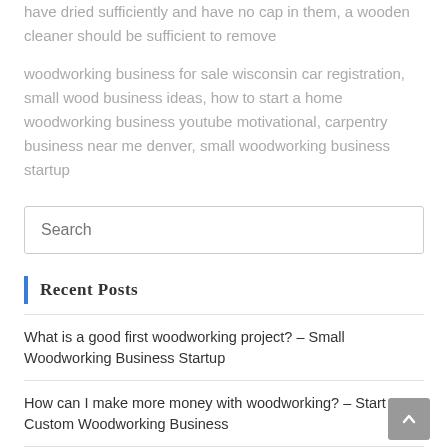have dried sufficiently and have no cap in them, a wooden cleaner should be sufficient to remove
woodworking business for sale wisconsin car registration, small wood business ideas, how to start a home woodworking business youtube motivational, carpentry business near me denver, small woodworking business startup
Recent Posts
What is a good first woodworking project? – Small Woodworking Business Startup
How can I make more money with woodworking? – Start A Custom Woodworking Business
Should I buy a table saw or miter saw first? – Woodworking Business…